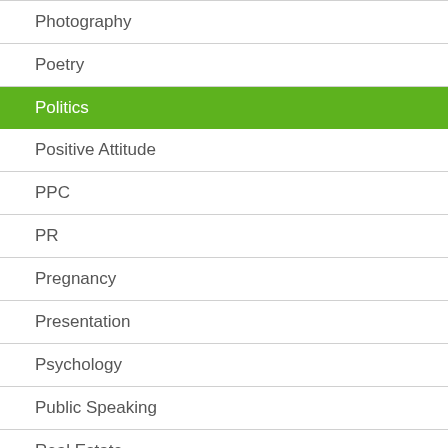Photography
Poetry
Politics
Positive Attitude
PPC
PR
Pregnancy
Presentation
Psychology
Public Speaking
Real Estate
Recipes
Relationships